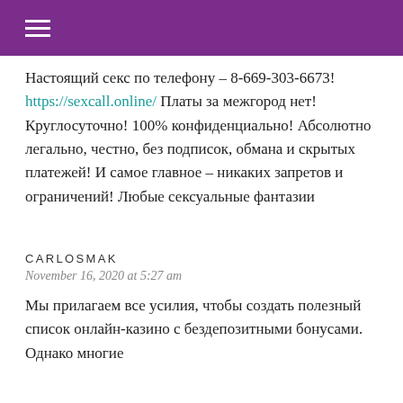≡
Настоящий секс по телефону – 8-669-303-6673! https://sexcall.online/ Платы за межгород нет! Круглосуточно! 100% конфиденциально! Абсолютно легально, честно, без подписок, обмана и скрытых платежей! И самое главное – никаких запретов и ограничений! Любые сексуальные фантазии
CARLOSMAK
November 16, 2020 at 5:27 am
Мы прилагаем все усилия, чтобы создать полезный список онлайн-казино с бездепозитными бонусами. Однако многие